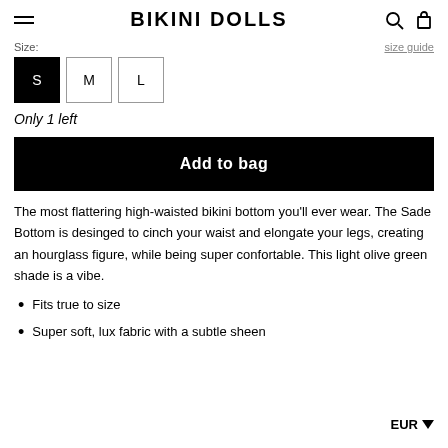BIKINI DOLLS
Size:
size guide
S  M  L
Only 1 left
Add to bag
The most flattering high-waisted bikini bottom you'll ever wear. The Sade Bottom is desinged to cinch your waist and elongate your legs, creating an hourglass figure, while being super confortable. This light olive green shade is a vibe.
Fits true to size
Super soft, lux fabric with a subtle sheen
EUR ▼